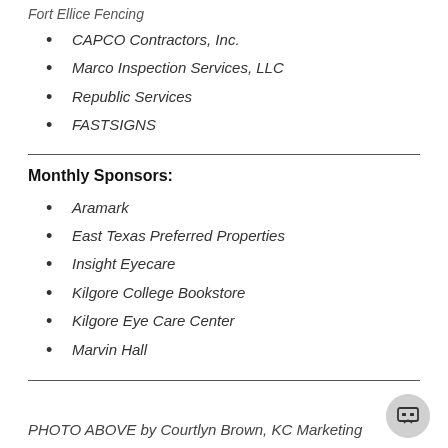CAPCO Contractors, Inc.
Marco Inspection Services, LLC
Republic Services
FASTSIGNS
Monthly Sponsors:
Aramark
East Texas Preferred Properties
Insight Eyecare
Kilgore College Bookstore
Kilgore Eye Care Center
Marvin Hall
PHOTO ABOVE by Courtlyn Brown, KC Marketing